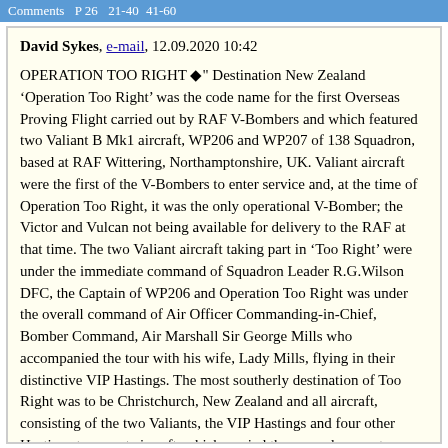Comments  P 26  21-40  41-60
David Sykes, e-mail, 12.09.2020 10:42

OPERATION TOO RIGHT ◆" Destination New Zealand 'Operation Too Right' was the code name for the first Overseas Proving Flight carried out by RAF V-Bombers and which featured two Valiant B Mk1 aircraft, WP206 and WP207 of 138 Squadron, based at RAF Wittering, Northamptonshire, UK. Valiant aircraft were the first of the V-Bombers to enter service and, at the time of Operation Too Right, it was the only operational V-Bomber; the Victor and Vulcan not being available for delivery to the RAF at that time. The two Valiant aircraft taking part in 'Too Right' were under the immediate command of Squadron Leader R.G.Wilson DFC, the Captain of WP206 and Operation Too Right was under the overall command of Air Officer Commanding-in-Chief, Bomber Command, Air Marshall Sir George Mills who accompanied the tour with his wife, Lady Mills, flying in their distinctive VIP Hastings. The most southerly destination of Too Right was to be Christchurch, New Zealand and all aircraft, consisting of the two Valiants, the VIP Hastings and four other Hastings transport aircraft, which carried the ground support crews, spares and ground-equipment, were due to arrive at Harewood Airport, Christchurch on Monday 19th September 1955. As a member of the ground-crew, I was allotted to Handley Page Hastings